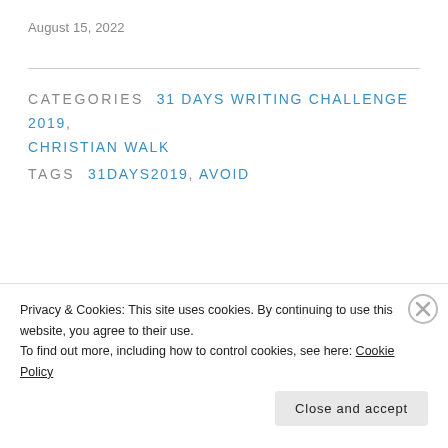August 15, 2022
CATEGORIES  31 DAYS WRITING CHALLENGE 2019, CHRISTIAN WALK
TAGS  31DAYS2019, AVOID
PREVIOUS
Day 15: Open
Privacy & Cookies: This site uses cookies. By continuing to use this website, you agree to their use.
To find out more, including how to control cookies, see here: Cookie Policy
Close and accept